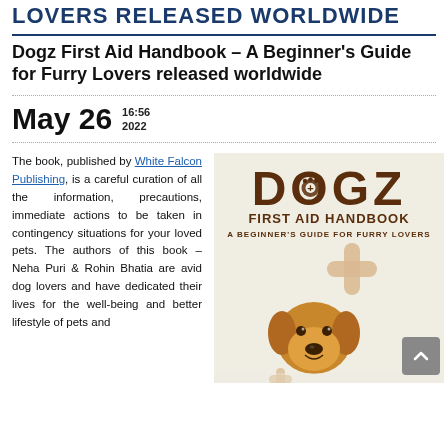LOVERS RELEASED WORLDWIDE
Dogz First Aid Handbook – A Beginner's Guide for Furry Lovers released worldwide
May 26  16:56 2022
The book, published by White Falcon Publishing, is a careful curation of all the information, precautions, immediate actions to be taken in contingency situations for your loved pets. The authors of this book – Neha Puri & Rohin Bhatia are avid dog lovers and have dedicated their lives for the well-being and better lifestyle of pets and
[Figure (illustration): Book cover of Dogz First Aid Handbook – A Beginner's Guide for Furry Lovers, showing the title DOGZ in large brown letters with a paw print in the O, subtitle FIRST AID HANDBOOK, A BEGINNER'S GUIDE FOR FURRY LOVERS, a large bandage cross, and a golden retriever dog on a beige/cream background.]